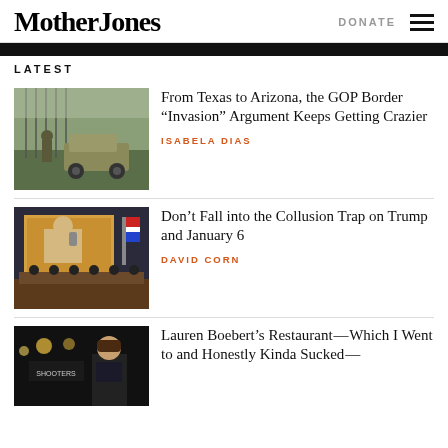Mother Jones
LATEST
[Figure (photo): Military humvee and soldier near a tall border fence with sparse vegetation]
From Texas to Arizona, the GOP Border “Invasion” Argument Keeps Getting Crazier
ISABELA DIAS
[Figure (photo): Congressional hearing room with large projection screen showing Trump on a phone call]
Don’t Fall into the Collusion Trap on Trump and January 6
DAVID CORN
[Figure (photo): Lauren Boebert in a dark restaurant setting]
Lauren Boebert’s Restaurant—Which I Went to and Honestly Kinda Sucked—